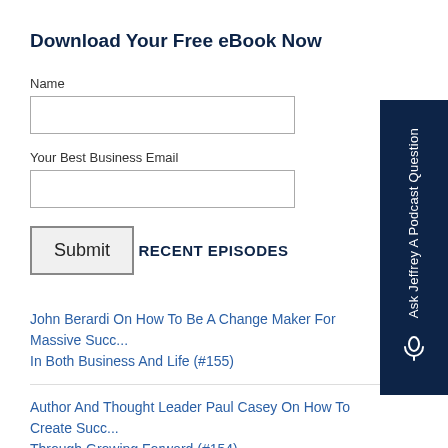Download Your Free eBook Now
Name
Your Best Business Email
Submit
RECENT EPISODES
John Berardi On How To Be A Change Maker For Massive Succ... In Both Business And Life (#155)
Author And Thought Leader Paul Casey On How To Create Succ... Through Growing Forward (#154)
Ask Jeffrey A Podcast Question